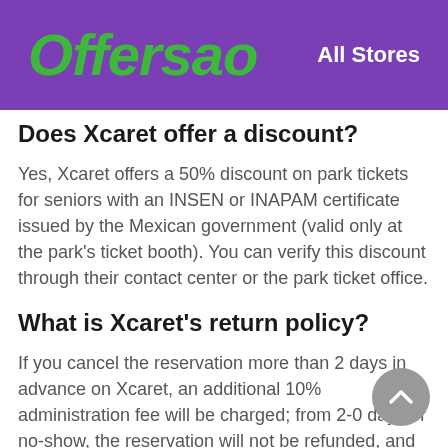Offersao   All Stores
Does Xcaret offer a discount?
Yes, Xcaret offers a 50% discount on park tickets for seniors with an INSEN or INAPAM certificate issued by the Mexican government (valid only at the park's ticket booth). You can verify this discount through their contact center or the park ticket office.
What is Xcaret's return policy?
If you cancel the reservation more than 2 days in advance on Xcaret, an additional 10% administration fee will be charged; from 2-0 days or no-show, the reservation will not be refunded, and the package cannot be cancelled